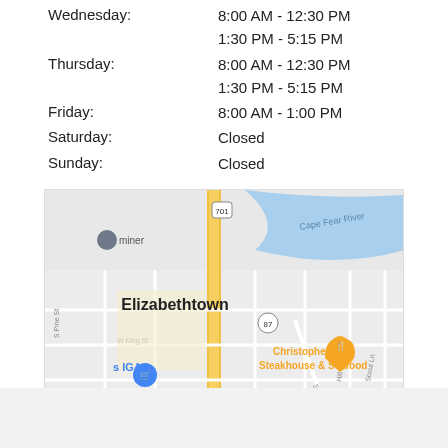Wednesday: 8:00 AM - 12:30 PM / 1:30 PM - 5:15 PM
Thursday: 8:00 AM - 12:30 PM / 1:30 PM - 5:15 PM
Friday: 8:00 AM - 1:00 PM
Saturday: Closed
Sunday: Closed
[Figure (map): Google Maps view of Elizabethtown, NC showing Cape Fear River, route 701, route 87, Christopher's Steakhouse & Seafood, CVS, and IGA markers.]